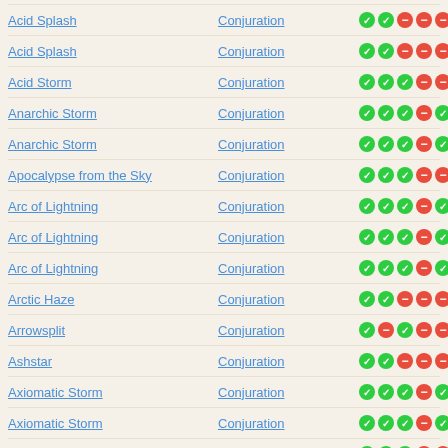| Name | School | Icons |
| --- | --- | --- |
| Acid Splash | Conjuration | ✓✓−−−− |
| Acid Splash | Conjuration | ✓✓−−−− |
| Acid Storm | Conjuration | ✓✓✓−−− |
| Anarchic Storm | Conjuration | ✓✓✓−✓− |
| Anarchic Storm | Conjuration | ✓✓✓−✓− |
| Apocalypse from the Sky | Conjuration | ✓✓✓−−− |
| Arc of Lightning | Conjuration | ✓✓✓−✓− |
| Arc of Lightning | Conjuration | ✓✓✓−✓− |
| Arc of Lightning | Conjuration | ✓✓✓−✓− |
| Arctic Haze | Conjuration | ✓✓−−−− |
| Arrowsplit | Conjuration | ✓−✓−−− |
| Ashstar | Conjuration | ✓✓−−−− |
| Axiomatic Storm | Conjuration | ✓✓✓−✓− |
| Axiomatic Storm | Conjuration | ✓✓✓−✓− |
| Bands of Steel | Conjuration | ✓✓✓−−− |
«‹ previous 1 2 3 ... 17 18 19 next ›» (total 376 items)